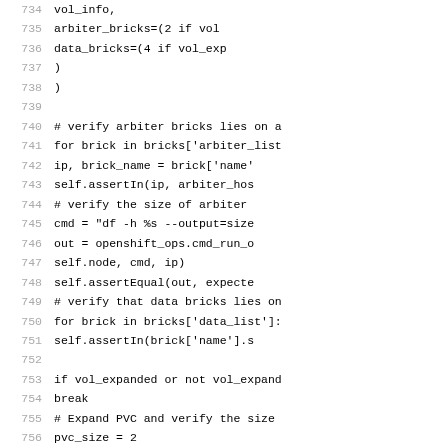[Figure (screenshot): Source code listing of Python test file, lines 734-763, showing code for verifying arbiter and data bricks placement, PVC expansion, and test decorators.]